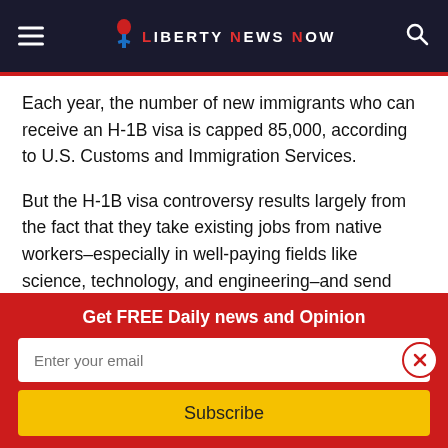Liberty News Now
Each year, the number of new immigrants who can receive an H-1B visa is capped 85,000, according to U.S. Customs and Immigration Services.
But the H-1B visa controversy results largely from the fact that they take existing jobs from native workers–especially in well-paying fields like science, technology, and engineering–and send them to newly-arrived immigrants.
Trump's plan would make it substantially harder to hire
Get FREE Daily news and Opinion